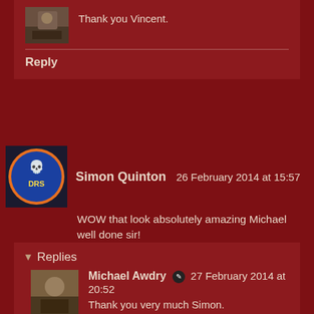[Figure (photo): Small avatar photo of a person, nature scene]
Thank you Vincent.
Reply
[Figure (logo): Avatar with skull and game logo (DRS) on orange/blue circle]
Simon Quinton   26 February 2014 at 15:57
WOW that look absolutely amazing Michael well done sir!
Reply
▾  Replies
[Figure (photo): Avatar photo of Michael Awdry]
Michael Awdry ✎  27 February 2014 at 20:52
Thank you very much Simon.
Reply
[Figure (photo): Avatar photo of Irqan]
Irqan   26 February 2014 at 16:22
Excellent stuff so atmospheric.